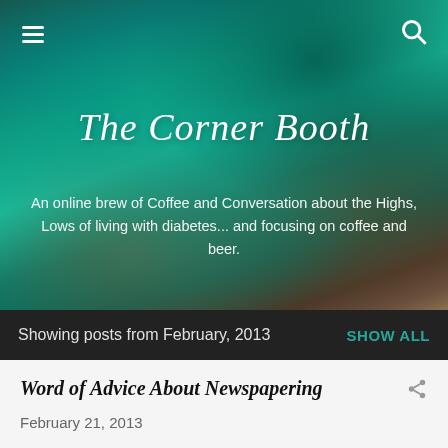[Figure (photo): Hero image of aerial/ocean view with teal and green water, used as blog header background]
The Corner Booth
An online brew of Coffee and Conversation about the Highs, Lows of living with diabetes... and focusing on coffee and beer.
Showing posts from February, 2013
SHOW ALL
Word of Advice About Newspapering
February 21, 2013
Take note: "It's the job of journalists to afflict the comfortable and comfort the afflicted." - Paraphrased version of wha t Mr. Dooley said. If y ou can't take the heat,